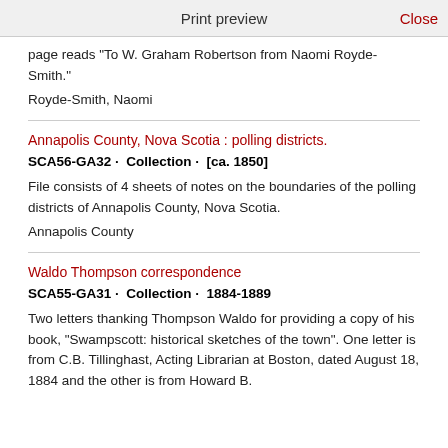Print preview   Close
page reads "To W. Graham Robertson from Naomi Royde-Smith."
Royde-Smith, Naomi
Annapolis County, Nova Scotia : polling districts.
SCA56-GA32 · Collection · [ca. 1850]
File consists of 4 sheets of notes on the boundaries of the polling districts of Annapolis County, Nova Scotia.
Annapolis County
Waldo Thompson correspondence
SCA55-GA31 · Collection · 1884-1889
Two letters thanking Thompson Waldo for providing a copy of his book, "Swampscott: historical sketches of the town". One letter is from C.B. Tillinghast, Acting Librarian at Boston, dated August 18, 1884 and the other is from Howard B.